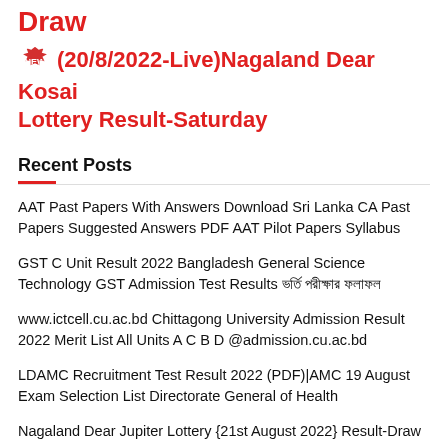Draw
(20/8/2022-Live)Nagaland Dear Kosai Lottery Result-Saturday
Recent Posts
AAT Past Papers With Answers Download Sri Lanka CA Past Papers Suggested Answers PDF AAT Pilot Papers Syllabus
GST C Unit Result 2022 Bangladesh General Science Technology GST Admission Test Results ভর্তি পরীক্ষার ফলাফল
www.ictcell.cu.ac.bd Chittagong University Admission Result 2022 Merit List All Units A C B D @admission.cu.ac.bd
LDAMC Recruitment Test Result 2022 (PDF)|AMC 19 August Exam Selection List Directorate General of Health
Nagaland Dear Jupiter Lottery {21st August 2022} Result-Draw